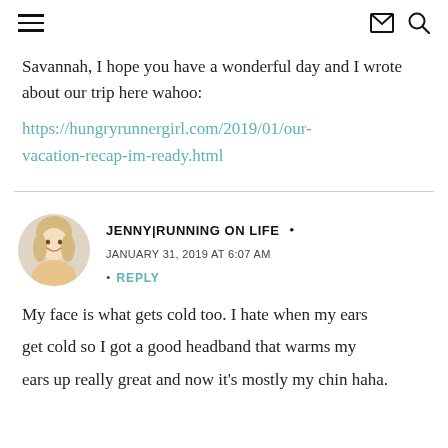Navigation header with hamburger menu, envelope icon, and search icon
Savannah, I hope you have a wonderful day and I wrote about our trip here wahoo:
https://hungryrunnergirl.com/2019/01/our-vacation-recap-im-ready.html
JENNY|RUNNING ON LIFE  •  JANUARY 31, 2019 AT 6:07 AM
REPLY
My face is what gets cold too. I hate when my ears get cold so I got a good headband that warms my ears up really great and now it's mostly my chin haha.